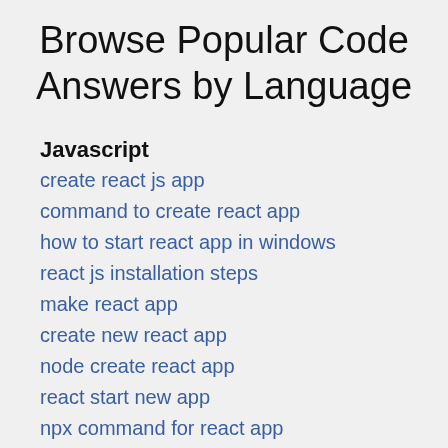Browse Popular Code Answers by Language
Javascript
create react js app
command to create react app
how to start react app in windows
react js installation steps
make react app
create new react app
node create react app
react start new app
npx command for react app
react js installation